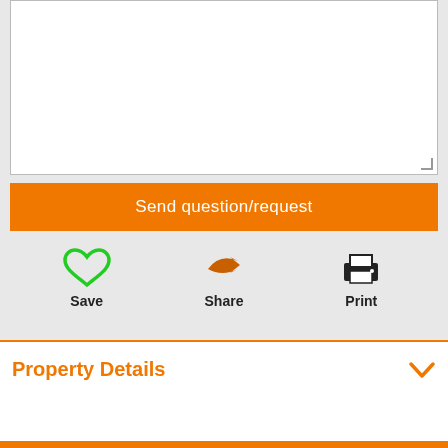[Figure (screenshot): White textarea input box with resize handle at bottom-right corner]
Send question/request
[Figure (infographic): Three action buttons: Save (green heart icon), Share (orange arrow icon), Print (black printer icon)]
Property Details